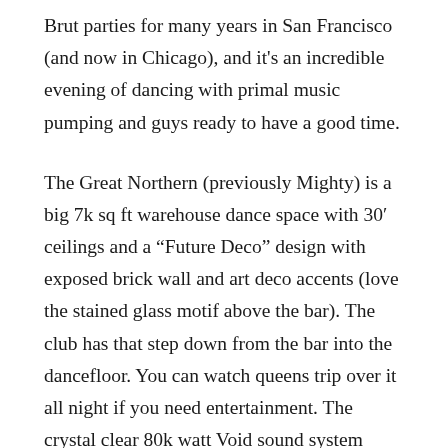Brut parties for many years in San Francisco (and now in Chicago), and it’s an incredible evening of dancing with primal music pumping and guys ready to have a good time.
The Great Northern (previously Mighty) is a big 7k sq ft warehouse dance space with 30′ ceilings and a “Future Deco” design with exposed brick wall and art deco accents (love the stained glass motif above the bar). The club has that step down from the bar into the dancefloor. You can watch queens trip over it all night if you need entertainment. The crystal clear 80k watt Void sound system keeps the music from being over-loud and you don’t have to yell at the guy next to you to have a